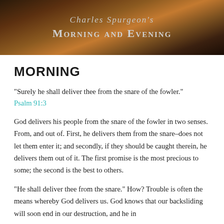[Figure (illustration): Book cover header image showing mountain landscape with text: Charles Spurgeon's Morning and Evening]
MORNING
“Surely he shall deliver thee from the snare of the fowler.”
Psalm 91:3
God delivers his people from the snare of the fowler in two senses. From, and out of. First, he delivers them from the snare–does not let them enter it; and secondly, if they should be caught therein, he delivers them out of it. The first promise is the most precious to some; the second is the best to others.
“He shall deliver thee from the snare.” How? Trouble is often the means whereby God delivers us. God knows that our backsliding will soon end in our destruction, and he in